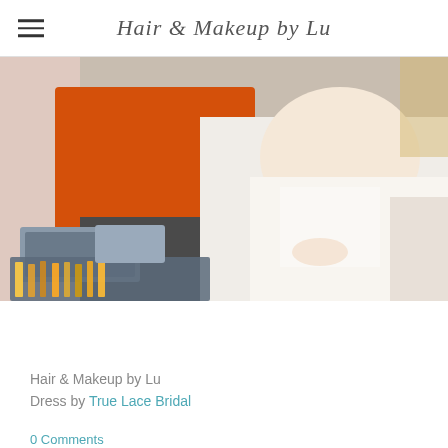Hair & Makeup by Lu
[Figure (photo): A bride in a white strapless gown seated, with makeup brushes and accessories on a table in the foreground, and a person in an orange dress beside her.]
More Pictures
Hair & Makeup by Lu
Dress by True Lace Bridal
Tweet
0 Comments